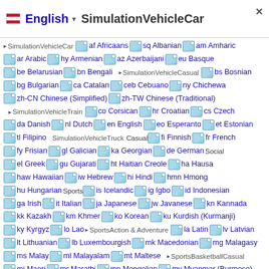English · SimulationVehicleCar
af Africaans · sq Albanian · am Amharic · ar Arabic · hy Armenian · az Azerbaijani · eu Basque · be Belarusian · bn Bengali · bs Bosnian · bg Bulgarian · ca Catalan · ceb Cebuano · ny Chichewa · zh-CN Chinese (Simplified) · zh-TW Chinese (Traditional) · co Corsican · hr Croatian · cs Czech · da Danish · nl Dutch · en English · eo Esperanto · et Estonian · tl Filipino · fi Finnish · fr French · fy Frisian · gl Galician · ka Georgian · de German · el Greek · gu Gujarati · ht Haitian Creole · ha Hausa · haw Hawaiian · iw Hebrew · hi Hindi · hmn Hmong · hu Hungarian · is Icelandic · ig Igbo · id Indonesian · ga Irish · it Italian · ja Japanese · jw Javanese · kn Kannada · kk Kazakh · km Khmer · ko Korean · ku Kurdish (Kurmanji) · ky Kyrgyz · lo Lao · la Latin · lv Latvian · lt Lithuanian · lb Luxembourgish · mk Macedonian · mg Malagasy · ms Malay · ml Malayalam · mt Maltese · mi Maori · mr Marathi · mn Mongolian · my Myanmar (Burmese) · ne Nepali · no Norwegian · ps Pashto · fa Persian · pl Polish · pt Portuguese · pa Punjabi · ro Romanian · ru Russian · sm Samoan · gd Scottish Gaelic · sr Serbian · st Sesotho · sn Shona · sd Sindhi · si Sinhala · sk Slovak · sl Slovenian · so Somali · es Spanish · su Sudanese · sw Swahili · ... Tajik · ta Tamil · te Telugu · th Thai · tr Turkish